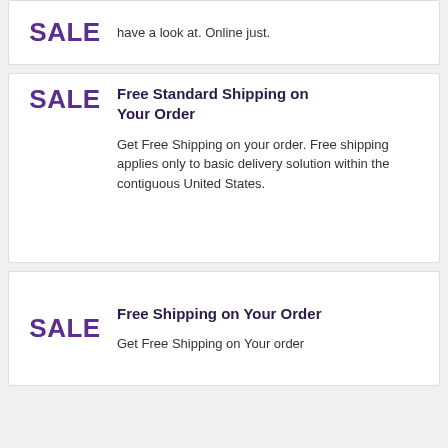have a look at. Online just.
Free Standard Shipping on Your Order
Get Free Shipping on your order. Free shipping applies only to basic delivery solution within the contiguous United States.
Free Shipping on Your Order
Get Free Shipping on Your order